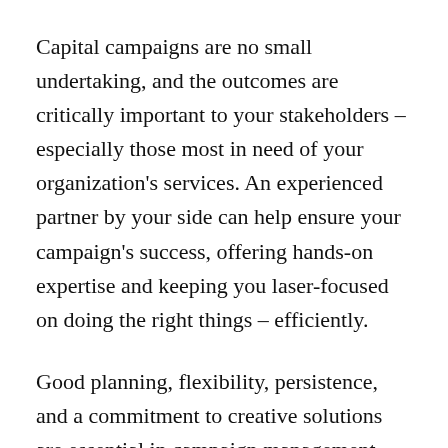Capital campaigns are no small undertaking, and the outcomes are critically important to your stakeholders – especially those most in need of your organization's services. An experienced partner by your side can help ensure your campaign's success, offering hands-on expertise and keeping you laser-focused on doing the right things – efficiently.
Good planning, flexibility, persistence, and a commitment to creative solutions are essential in campaign management. Our team can provide any level of assistance that your staff, volunteers, and budget require – from creating a plan and